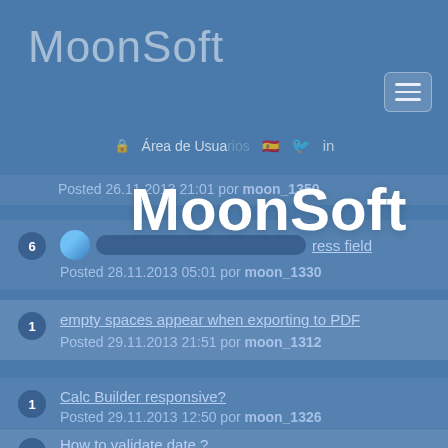[Figure (screenshot): MoonSoft website header with logo in handwritten style font, hamburger menu button, navigation bar with 'Área de Usuario' text, Spanish flag icon, Twitter and LinkedIn icons, and an overlaid MoonSoft watermark logo. Below are forum post listings with reply count badges, post titles as links, and posting metadata.]
MoonSoft
Posted 26.11.2013 21:01 por moon_1350
6 — [progress bar item] ...ress field
Posted 28.11.2013 05:01 por moon_1330
1 — empty spaces appear when exporting to PDF
Posted 29.11.2013 21:51 por moon_1312
1 — Calc Builder responsive?
Posted 29.11.2013 12:50 por moon_1326
1 — How to validate date ?